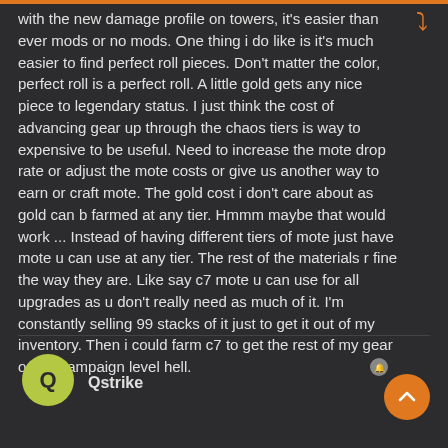with the new damage profile on towers, it's easier than ever mods or no mods. One thing i do like is it's much easier to find perfect roll pieces. Don't matter the color, perfect roll is a perfect roll. A little gold gets any nice piece to legendary status. I just think the cost of advancing gear up through the chaos tiers is way to expensive to be useful. Need to increase the mote drop rate or adjust the mote costs or give us another way to earn or craft mote. The gold cost i don't care about as gold can b farmed at any tier. Hmmm maybe that would work ... Instead of having different tiers of mote just have mote u can use at any tier. The rest of the materials r fine the way they are. Like say c7 mote u can use for all upgrades as u don't really need as much of it. I'm constantly selling 99 stacks of it just to get it out of my inventory. Then i could farm c7 to get the rest of my gear out of campaign level hell.
Qstrike